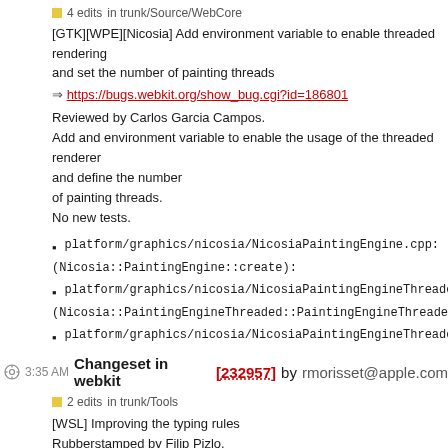4 edits  in trunk/Source/WebCore
[GTK][WPE][Nicosia] Add environment variable to enable threaded rendering and set the number of painting threads
=> https://bugs.webkit.org/show_bug.cgi?id=186801
Reviewed by Carlos Garcia Campos. Add and environment variable to enable the usage of the threaded renderer and define the number of painting threads. No new tests.
platform/graphics/nicosia/NicosiaPaintingEngine.cpp:
(Nicosia::PaintingEngine::create):
platform/graphics/nicosia/NicosiaPaintingEngineThreaded.cpp:
(Nicosia::PaintingEngineThreaded::PaintingEngineThreaded):
platform/graphics/nicosia/NicosiaPaintingEngineThreaded.h:
3:35 AM Changeset in webkit [232957] by rmorisset@apple.com
2 edits  in trunk/Tools
[WSL] Improving the typing rules
Rubberstamped by Filip Pizlo.
12:20 AM Changeset in webkit [232956] by youenn@apple.com
12 edits  in trunk